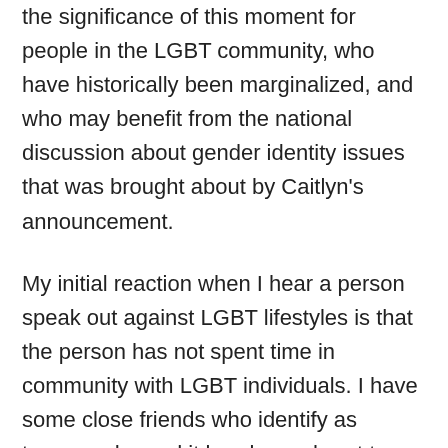the significance of this moment for people in the LGBT community, who have historically been marginalized, and who may benefit from the national discussion about gender identity issues that was brought about by Caitlyn's announcement.

My initial reaction when I hear a person speak out against LGBT lifestyles is that the person has not spent time in community with LGBT individuals. I have some close friends who identify as transgender and it breaks my heart to hear about how much persecution they have had to endure because of their decisions to share their authentic gender identities with others. Attacking identity issues has detrimental consequences, as has been shown by the failure